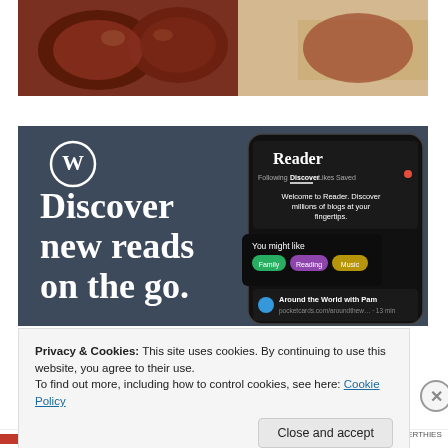[Figure (photo): Partial photo of cooked meat (appears to be ribs or steaks) on a light surface, cropped at top]
[Figure (screenshot): WordPress Reader promotional banner with dark slate background. Left side shows WordPress logo (W in circle) and large white serif text: 'Discover new reads on the go.' Right side shows a smartphone screenshot of the WordPress Reader app interface with tabs: Following, Discover, Likes, Saved. Shows 'Welcome to Reader. Discover millions of blogs at your fingertips.' and 'You might like' section with colored tags: Family, Reading, Music. Also shows 'Around the World with Pam' blog listing.]
Privacy & Cookies: This site uses cookies. By continuing to use this website, you agree to their use.
To find out more, including how to control cookies, see here: Cookie Policy
Close and accept